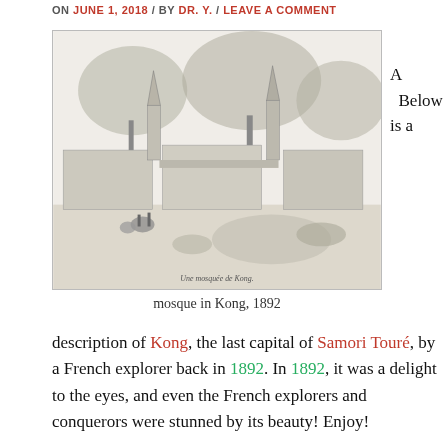ON JUNE 1, 2018 / BY DR. Y. / LEAVE A COMMENT
[Figure (illustration): Black and white engraving of a mosque in Kong, 1892, showing buildings with pointed towers, trees, and people with animals in the foreground. Caption text reads 'Une mosquée de Kong'.]
mosque in Kong, 1892
A  Below is a description of Kong, the last capital of Samori Touré, by a French explorer back in 1892. In 1892, it was a delight to the eyes, and even the French explorers and conquerors were stunned by its beauty! Enjoy!